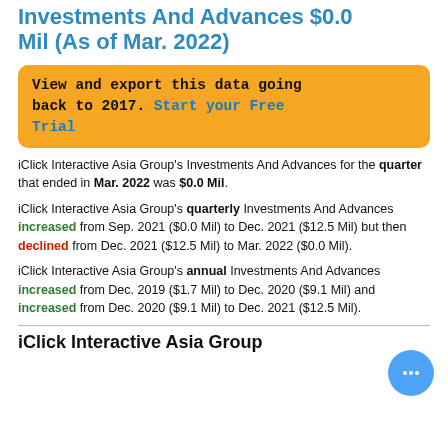Investments And Advances $0.0 Mil (As of Mar. 2022)
View and export this data going back to 2017. Start your Free Trial
iClick Interactive Asia Group's Investments And Advances for the quarter that ended in Mar. 2022 was $0.0 Mil.
iClick Interactive Asia Group's quarterly Investments And Advances increased from Sep. 2021 ($0.0 Mil) to Dec. 2021 ($12.5 Mil) but then declined from Dec. 2021 ($12.5 Mil) to Mar. 2022 ($0.0 Mil).
iClick Interactive Asia Group's annual Investments And Advances increased from Dec. 2019 ($1.7 Mil) to Dec. 2020 ($9.1 Mil) and increased from Dec. 2020 ($9.1 Mil) to Dec. 2021 ($12.5 Mil).
iClick Interactive Asia Group